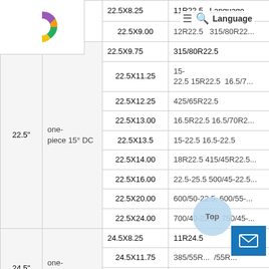[Figure (logo): Colorful C-shaped logo with purple, yellow/orange, and green segments]
| Rim Size | Type | Rim Width | Applicable Tyre Size |
| --- | --- | --- | --- |
|  |  | 22.5X8.25 | 11R22.5 |
|  |  | 22.5X9.00 | 12R22.5  315/80R22... |
| 22.5" | one-piece 15° DC | 22.5X9.75 | 315/80R22.5 |
| 22.5" | one-piece 15° DC | 22.5X11.25 | 15-22.5 15R22.5  16.5/7... |
| 22.5" | one-piece 15° DC | 22.5X12.25 | 425/65R22.5 |
| 22.5" | one-piece 15° DC | 22.5X13.00 | 16.5R22.5 16.5/70R2... |
| 22.5" | one-piece 15° DC | 22.5X13.5 | 15-22.5 16.5-22.5 |
| 22.5" | one-piece 15° DC | 22.5X14.00 | 18R22.5 415/45R22.5... |
| 22.5" | one-piece 15° DC | 22.5X16.00 | 22.5-25.5 500/45-22.5... |
| 22.5" | one-piece 15° DC | 22.5X20.00 | 600/50-22.5, 600/55-... |
| 22.5" | one-piece 15° DC | 22.5X24.00 | 700/40-22.5  750/45-... |
| 24.5" | one-piece 15° DC | 24.5X8.25 | 11R24.5 |
| 24.5" | one-piece 15° DC | 24.5X11.75 | 385/55R... /55R... |
| 24.5" | one-piece 15° DC | 24.5X13.00 | 16.5R24.5 4... 24... |